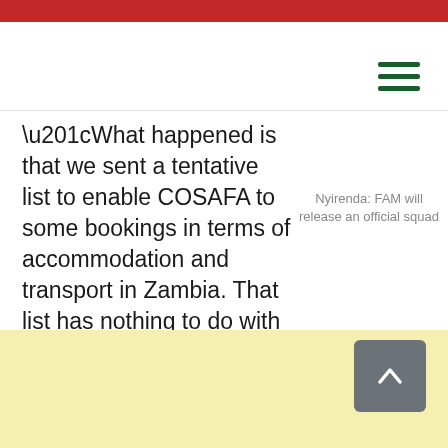“What happened is that we sent a tentative list to enable COSAFA to some bookings in terms of accommodation and transport in Zambia. That list has nothing to do with
Nyirenda: FAM will release an official squad